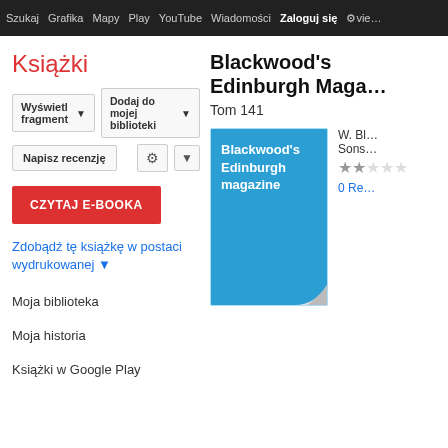Szukaj  Grafika  Mapy  Play  YouTube  Wiadomości  Zaloguj się  Vie…
Książki
Wyświetl fragment ▼
Dodaj do mojej biblioteki ▼
Napisz recenzję
CZYTAJ E-BOOKA
Zdobądź tę książkę w postaci wydrukowanej ▼
Moja biblioteka
Moja historia
Książki w Google Play
Blackwood's Edinburgh Magazine
Tom 141
[Figure (illustration): Blue book cover of Blackwood's Edinburgh magazine with white text and a curled bottom-right corner]
W. Bl… Sons… ★★… 0 Re…